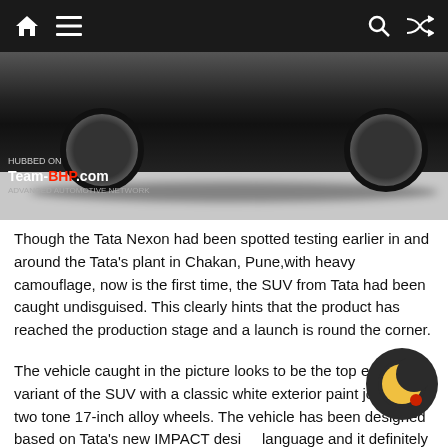Navigation bar with home, menu, search, and shuffle icons
[Figure (photo): Bottom portion of a white Tata Nexon SUV showing alloy wheels and undercarriage, with a Team-BHP.com watermark in the lower left corner.]
Though the Tata Nexon had been spotted testing earlier in and around the Tata’s plant in Chakan, Pune,with heavy camouflage, now is the first time, the SUV from Tata had been caught undisguised. This clearly hints that the product has reached the production stage and a launch is round the corner.
The vehicle caught in the picture looks to be the top end variant of the SUV with a classic white exterior paint job and a two tone 17-inch alloy wheels. The vehicle has been designed based on Tata’s new IMPACT design language and it definitely looks very futuristic. The side claddings on the doors reminds you of the